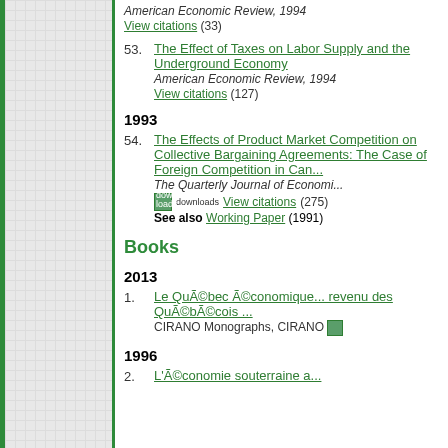American Economic Review, 1994
View citations (33)
53. The Effect of Taxes on Labor Supply and the Underground Economy
American Economic Review, 1994
View citations (127)
1993
54. The Effects of Product Market Competition on Collective Bargaining Agreements: The Case of Foreign Competition in Canada
The Quarterly Journal of Economics
downloads  View citations (275)
See also Working Paper (1991)
Books
2013
1. Le Québec économique... revenu des Québécois...
CIRANO Monographs, CIRANO
1996
2. L'Économie souterraine a...